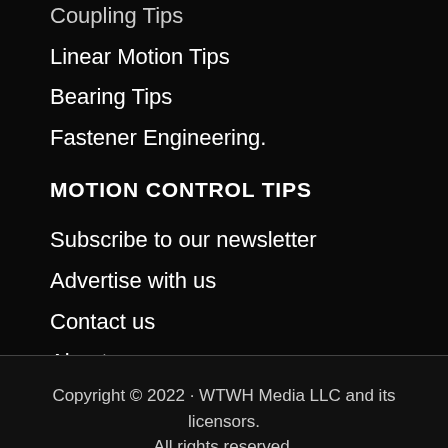Coupling Tips
Linear Motion Tips
Bearing Tips
Fastener Engineering.
MOTION CONTROL TIPS
Subscribe to our newsletter
Advertise with us
Contact us
About us
Copyright © 2022 · WTWH Media LLC and its licensors. All rights reserved. The material on this site may not be reproduced, distributed, transmitted, cached or otherwise used, except